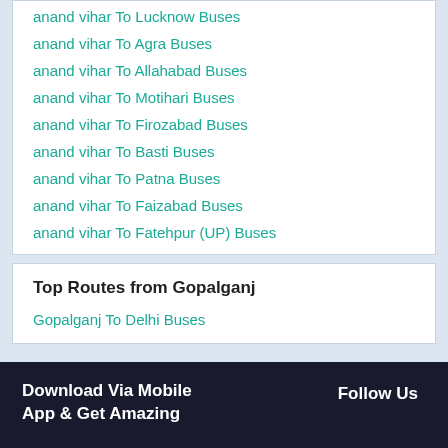anand vihar To Lucknow Buses
anand vihar To Agra Buses
anand vihar To Allahabad Buses
anand vihar To Motihari Buses
anand vihar To Firozabad Buses
anand vihar To Basti Buses
anand vihar To Patna Buses
anand vihar To Faizabad Buses
anand vihar To Fatehpur (UP) Buses
Top Routes from Gopalganj
Gopalganj To Delhi Buses
Download Via Mobile App & Get Amazing | Follow Us